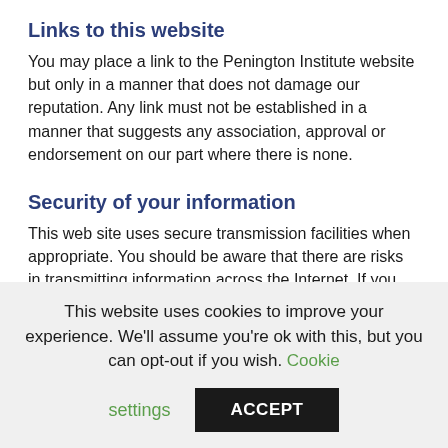Links to this website
You may place a link to the Penington Institute website but only in a manner that does not damage our reputation. Any link must not be established in a manner that suggests any association, approval or endorsement on our part where there is none.
Security of your information
This web site uses secure transmission facilities when appropriate. You should be aware that there are risks in transmitting information across the Internet. If you are concerned about conveying sensitive material to Penington Institute over the Internet, you might prefer to contact us by telephone or mail.
This website uses cookies to improve your experience. We'll assume you're ok with this, but you can opt-out if you wish. Cookie settings ACCEPT